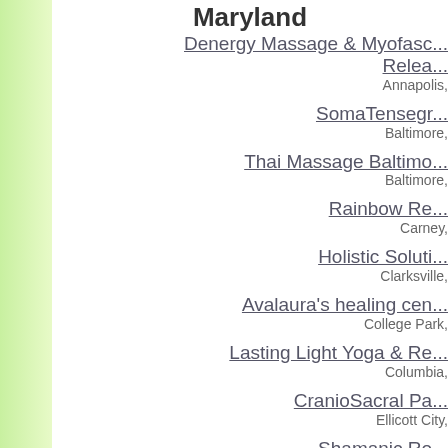Maryland
Denergy Massage & Myofascial Release
Annapolis,
SomaTensegr...
Baltimore,
Thai Massage Baltimo...
Baltimore,
Rainbow Re...
Carney,
Holistic Soluti...
Clarksville,
Avalaura's healing cen...
College Park,
Lasting Light Yoga & Re...
Columbia,
CranioSacral Pa...
Ellicott City,
Shamanic Ro...